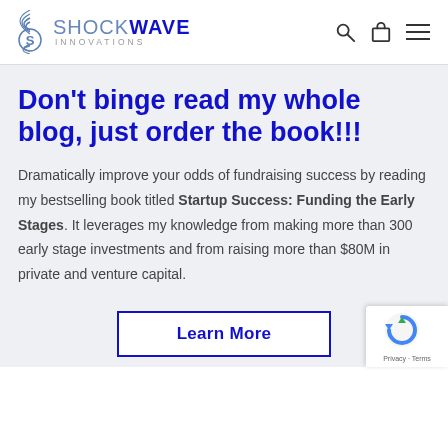[Figure (logo): ShockWave Innovations logo with wave arcs on the left, text SHOCK in gray and WAVE in dark blue bold, INNOVATIONS in small gray letters below]
Don't binge read my whole blog, just order the book!!!
Dramatically improve your odds of fundraising success by reading my bestselling book titled Startup Success: Funding the Early Stages. It leverages my knowledge from making more than 300 early stage investments and from raising more than $80M in private and venture capital.
Learn More